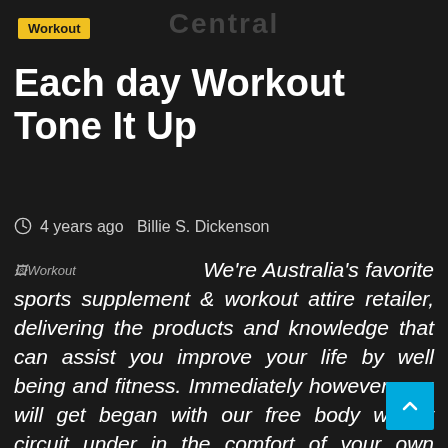Central
Workout
Each day Workout Tone It Up
4 years ago  Billie S. Dickenson
We're Australia's favorite sports supplement & workout attire retailer, delivering the products and knowledge that can assist you improve your life by well being and fitness. Immediately however, you will get began with our free body weight circuit under in the comfort of your own house: you'll full exercise proper after the opposite with stopping, you're both building muscle and